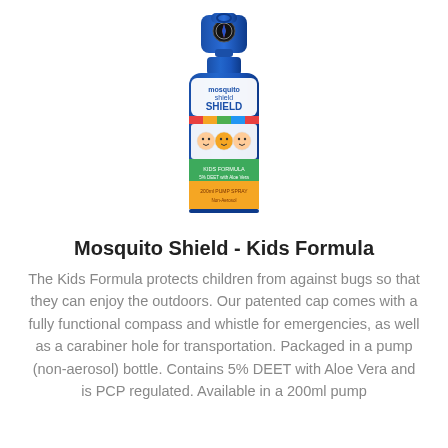[Figure (photo): A blue pump spray bottle of Mosquito Shield Kids Formula insect repellent with an orange label showing children's faces and a compass/whistle cap]
Mosquito Shield - Kids Formula
The Kids Formula protects children from against bugs so that they can enjoy the outdoors. Our patented cap comes with a fully functional compass and whistle for emergencies, as well as a carabiner hole for transportation. Packaged in a pump (non-aerosol) bottle. Contains 5% DEET with Aloe Vera and is PCP regulated. Available in a 200ml pump